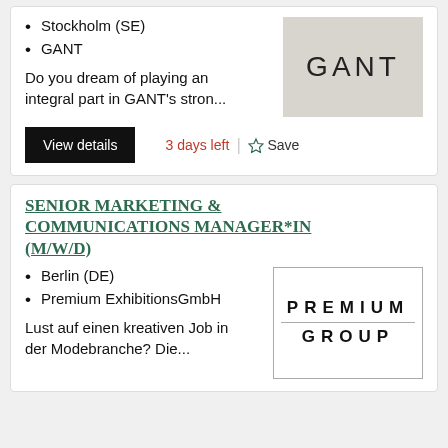Stockholm (SE)
GANT
[Figure (logo): GANT logo on light grey/beige background]
Do you dream of playing an integral part in GANT’s stron...
View details
3 days left
Save
SENIOR MARKETING & COMMUNICATIONS MANAGER*IN (M/W/D)
Berlin (DE)
Premium Exhibitions GmbH
[Figure (logo): Premium Group logo in black text with dividing line, bordered box]
Lust auf einen kreativen Job in der Modebranche? Die...